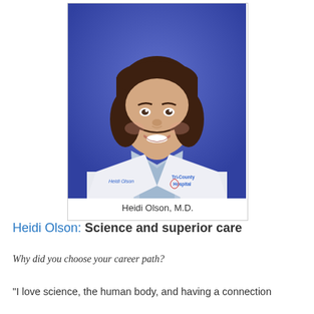[Figure (photo): Professional headshot of Heidi Olson, M.D., a woman with a dark brown bob haircut, smiling, wearing a white lab coat with 'Heidi Olson' name tag and 'Tri-County Hospital' logo, against a blue background.]
Heidi Olson, M.D.
Heidi Olson: Science and superior care
Why did you choose your career path?
"I love science, the human body, and having a connection